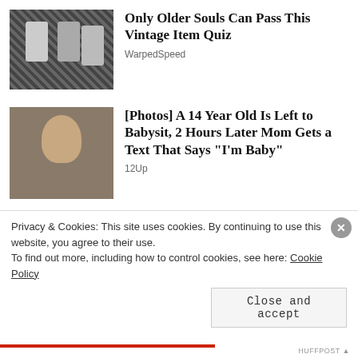[Figure (photo): Black and white photo of a vintage kitchen with bottles and appliances]
Only Older Souls Can Pass This Vintage Item Quiz
WarpedSpeed
[Figure (photo): Photo of a young teenage girl with long blonde hair looking serious]
[Photos] A 14 Year Old Is Left to Babysit, 2 Hours Later Mom Gets a Text That Says "I'm Baby"
12Up
[Figure (screenshot): Marvel Strike Force advertisement banner with Thor and Strike Force branding on purple background]
Privacy & Cookies: This site uses cookies. By continuing to use this website, you agree to their use.
To find out more, including how to control cookies, see here: Cookie Policy
Close and accept